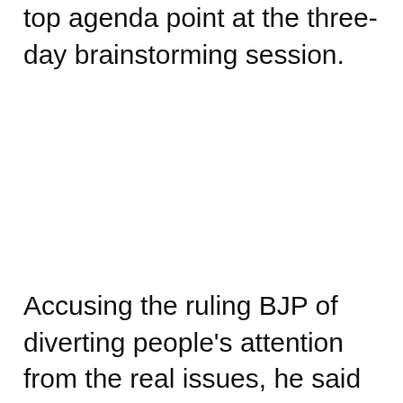top agenda point at the three-day brainstorming session.
Accusing the ruling BJP of diverting people's attention from the real issues, he said "some fringe elements" are trying to change the name of some monuments and roads